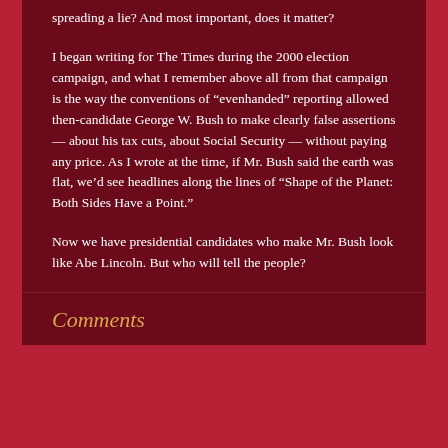spreading a lie? And most important, does it matter?
I began writing for The Times during the 2000 election campaign, and what I remember above all from that campaign is the way the conventions of “evenhanded” reporting allowed then-candidate George W. Bush to make clearly false assertions — about his tax cuts, about Social Security — without paying any price. As I wrote at the time, if Mr. Bush said the earth was flat, we’d see headlines along the lines of “Shape of the Planet: Both Sides Have a Point.”
Now we have presidential candidates who make Mr. Bush look like Abe Lincoln. But who will tell the people?
Comments